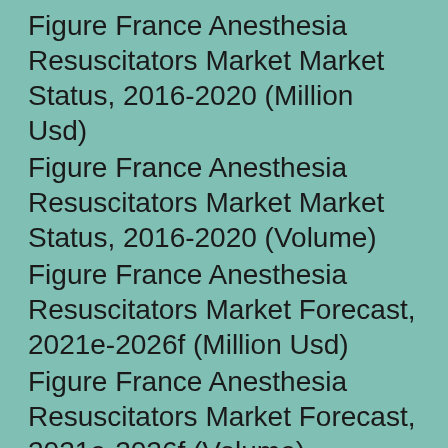Figure France Anesthesia Resuscitators Market Market Status, 2016-2020 (Million Usd)
Figure France Anesthesia Resuscitators Market Market Status, 2016-2020 (Volume)
Figure France Anesthesia Resuscitators Market Forecast, 2021e-2026f (Million Usd)
Figure France Anesthesia Resuscitators Market Forecast, 2021e-2026f (Volume)
5.3.4 Italy Market Status And Future Forecast
Figure Italy Anesthesia Resuscitators Market Market Status, 2016-2020 (Million Usd)
Figure Italy Anesthesia Resuscitators Market Market Status, 2016-2020 (Volume)
Figure Italy Anesthesia Resuscitators Market